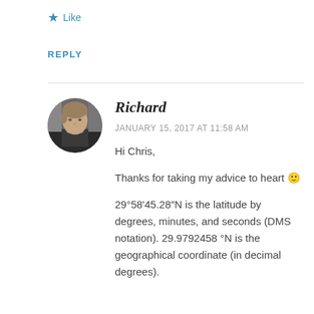★ Like
REPLY
[Figure (photo): Circular avatar photo of Richard, a person with light hair, resting chin on hand, wearing a dark jacket.]
Richard
JANUARY 15, 2017 AT 11:58 AM
Hi Chris,
Thanks for taking my advice to heart 🙂
29°58'45.28"N is the latitude by degrees, minutes, and seconds (DMS notation). 29.9792458 °N is the geographical coordinate (in decimal degrees).